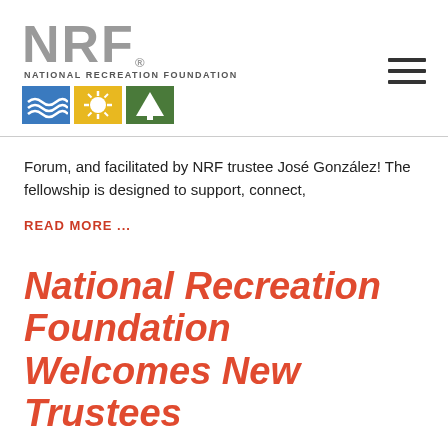[Figure (logo): NRF National Recreation Foundation logo with colored icon boxes (blue water, yellow sun, green tree)]
Forum, and facilitated by NRF trustee José González! The fellowship is designed to support, connect,
READ MORE ...
National Recreation Foundation Welcomes New Trustees
JUNE 26, 2020